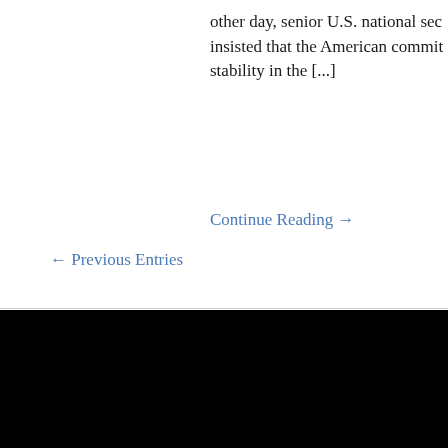other day, senior U.S. national sec… insisted that the American commit… stability in the [...]
Continue Reading →
← Previous Entries
IPS Writers in the Blogosphere
PAGES
About Jim Lobe
THE L…
Shelt… repor… by Tho… countr… suffer…